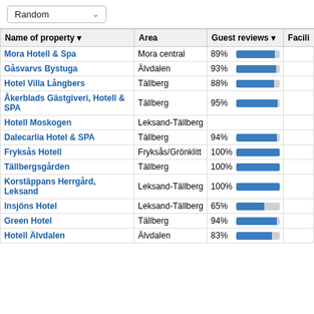Random
| Name of property | Area | Guest reviews | Facili... |
| --- | --- | --- | --- |
| Mora Hotell & Spa | Mora central | 89% |  |
| Gåsvarvs Bystuga | Älvdalen | 93% |  |
| Hotel Villa Långbers | Tällberg | 88% |  |
| Åkerblads Gästgiveri, Hotell & SPA | Tällberg | 95% |  |
| Hotell Moskogen | Leksand-Tällberg |  |  |
| Dalecarlia Hotel & SPA | Tällberg | 94% |  |
| Fryksås Hotell | Fryksås/Grönklitt | 100% |  |
| Tällbergsgården | Tällberg | 100% |  |
| Korstäppans Herrgård, Leksand | Leksand-Tällberg | 100% |  |
| Insjöns Hotel | Leksand-Tällberg | 65% |  |
| Green Hotel | Tällberg | 94% |  |
| Hotell Älvdalen | Älvdalen | 83% |  |